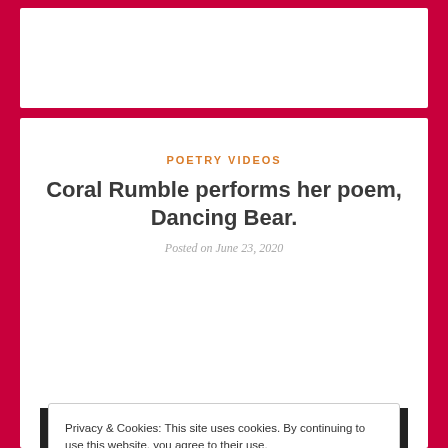[Figure (screenshot): Top white card area, part of a website header]
POETRY VIDEOS
Coral Rumble performs her poem, Dancing Bear.
Posted on June 23, 2020
Privacy & Cookies: This site uses cookies. By continuing to use this website, you agree to their use.
To find out more, including how to control cookies, see here: Cookie Policy
Close and accept
[Figure (screenshot): Bottom thumbnail strip showing Coral Rumble performs her poem text on dark background]